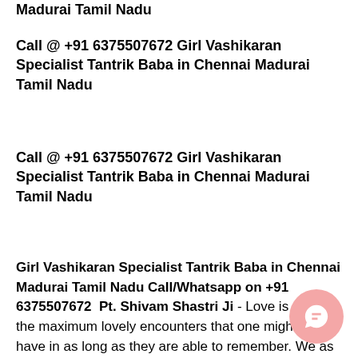Madurai Tamil Nadu
Call @ +91 6375507672 Girl Vashikaran Specialist Tantrik Baba in Chennai Madurai Tamil Nadu
Call @ +91 6375507672 Girl Vashikaran Specialist Tantrik Baba in Chennai Madurai Tamil Nadu
Girl Vashikaran Specialist Tantrik Baba in Chennai Madurai Tamil Nadu Call/Whatsapp on +91 6375507672  Pt. Shivam Shastri Ji - Love is one of the maximum lovely encounters that one might ever have in as long as they are able to remember. We as an entire want to enhance this experience and feature any individual tremendous in our life. you recognise it is elusive authentic romance and deliver a name on your
[Figure (illustration): Pink circular chat bubble icon in bottom right corner]